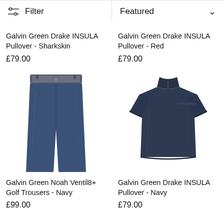[Figure (screenshot): Filter button with sliders icon and 'Filter' text on left; Featured dropdown with chevron on right — toolbar row]
Galvin Green Drake INSULA Pullover - Sharkskin
£79.00
Galvin Green Drake INSULA Pullover - Red
£79.00
[Figure (photo): Navy blue golf trousers with grey waistband, shown flat on white background]
Galvin Green Noah Ventil8+ Golf Trousers - Navy
£99.00
[Figure (photo): Navy blue quarter-zip pullover/fleece shown on white background]
Galvin Green Drake INSULA Pullover - Navy
£79.00